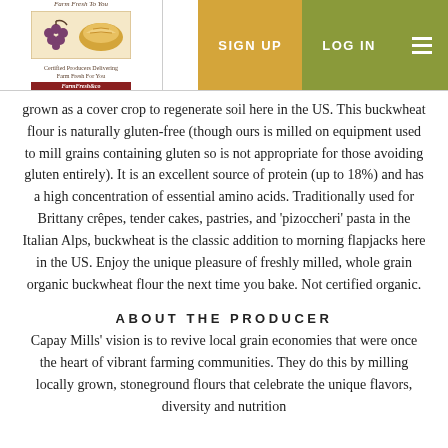[Figure (logo): Farm Fresh To You logo with grape/bread imagery and tagline text]
grown as a cover crop to regenerate soil here in the US. This buckwheat flour is naturally gluten-free (though ours is milled on equipment used to mill grains containing gluten so is not appropriate for those avoiding gluten entirely). It is an excellent source of protein (up to 18%) and has a high concentration of essential amino acids. Traditionally used for Brittany crêpes, tender cakes, pastries, and 'pizoccheri' pasta in the Italian Alps, buckwheat is the classic addition to morning flapjacks here in the US. Enjoy the unique pleasure of freshly milled, whole grain organic buckwheat flour the next time you bake. Not certified organic.
ABOUT THE PRODUCER
Capay Mills' vision is to revive local grain economies that were once the heart of vibrant farming communities. They do this by milling locally grown, stoneground flours that celebrate the unique flavors, diversity and nutrition